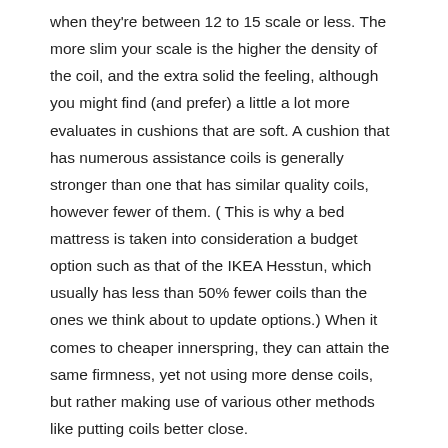when they're between 12 to 15 scale or less. The more slim your scale is the higher the density of the coil, and the extra solid the feeling, although you might find (and prefer) a little a lot more evaluates in cushions that are soft. A cushion that has numerous assistance coils is generally stronger than one that has similar quality coils, however fewer of them. ( This is why a bed mattress is taken into consideration a budget option such as that of the IKEA Hesstun, which usually has less than 50% fewer coils than the ones we think about to update options.) When it comes to cheaper innerspring, they can attain the same firmness, yet not using more dense coils, but rather making use of various other methods like putting coils better close.
What is the risk of body impressions from the body?
Every cushion type is prone to body impressions (imprints in the areas you frequently sleep on). For hybrid cushions and also foam